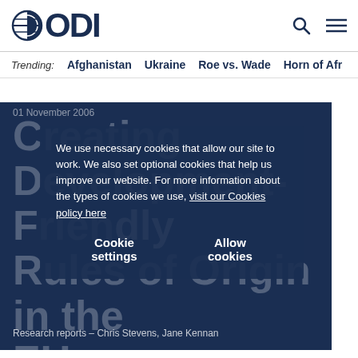ODI
Trending: Afghanistan Ukraine Roe vs. Wade Horn of Afr…
01 November 2006
Creating Development-Friendly Rules of Origin in the EU
We use necessary cookies that allow our site to work. We also set optional cookies that help us improve our website. For more information about the types of cookies we use, visit our Cookies policy here
Cookie settings   Allow cookies
Research reports – Chris Stevens, Jane Kennan